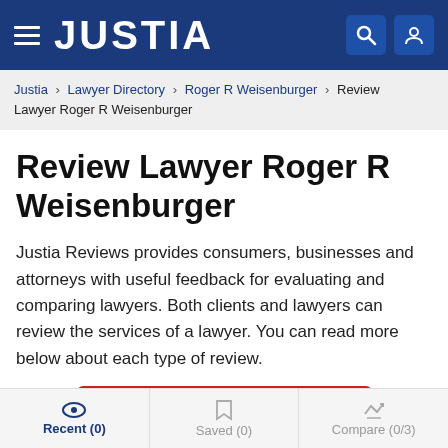JUSTIA
Justia › Lawyer Directory › Roger R Weisenburger › Review Lawyer Roger R Weisenburger
Review Lawyer Roger R Weisenburger
Justia Reviews provides consumers, businesses and attorneys with useful feedback for evaluating and comparing lawyers. Both clients and lawyers can review the services of a lawyer. You can read more below about each type of review.
Clients: Review Your Lawyer
Recent (0)   Saved (0)   Compare (0/3)